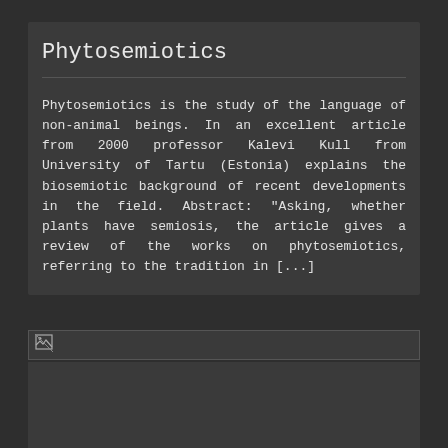Phytosemiotics
Phytosemiotics is the study of the language of non-animal beings. In an excellent article from 2000 professor Kalevi Kull from University of Tartu (Estonia) explains the biosemiotic background of recent developments in the field. Abstract: "Asking, whether plants have semiosis, the article gives a review of the works on phytosemiotics, referring to the tradition in [...]
[Figure (photo): Broken image placeholder shown as a small icon in a dark bar]